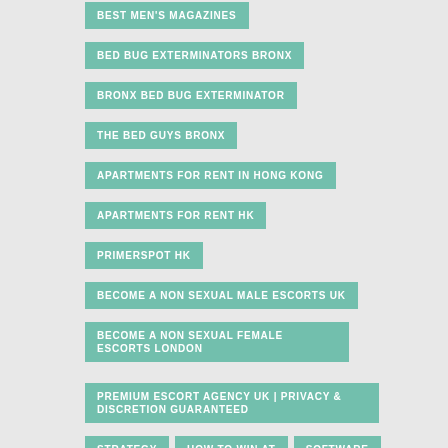BEST MEN'S MAGAZINES
BED BUG EXTERMINATORS BRONX
BRONX BED BUG EXTERMINATOR
THE BED GUYS BRONX
APARTMENTS FOR RENT IN HONG KONG
APARTMENTS FOR RENT HK
PRIMERSPOT HK
BECOME A NON SEXUAL MALE ESCORTS UK
BECOME A NON SEXUAL FEMALE ESCORTS LONDON
PREMIUM ESCORT AGENCY UK | PRIVACY & DISCRETION GUARANTEED
STRATEGY
HOW TO WIN AT
SOFTWARE